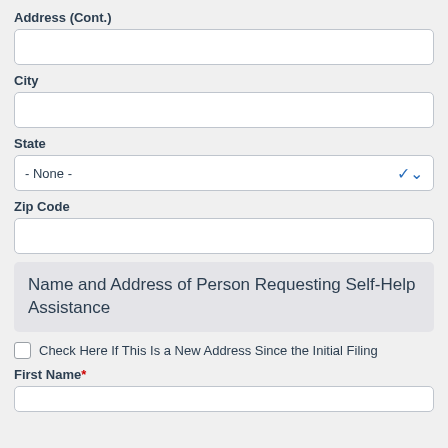Address (Cont.)
City
State
- None -
Zip Code
Name and Address of Person Requesting Self-Help Assistance
Check Here If This Is a New Address Since the Initial Filing
First Name*